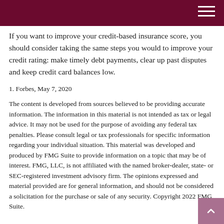If you want to improve your credit-based insurance score, you should consider taking the same steps you would to improve your credit rating: make timely debt payments, clear up past disputes and keep credit card balances low.
1. Forbes, May 7, 2020
The content is developed from sources believed to be providing accurate information. The information in this material is not intended as tax or legal advice. It may not be used for the purpose of avoiding any federal tax penalties. Please consult legal or tax professionals for specific information regarding your individual situation. This material was developed and produced by FMG Suite to provide information on a topic that may be of interest. FMG, LLC, is not affiliated with the named broker-dealer, state- or SEC-registered investment advisory firm. The opinions expressed and material provided are for general information, and should not be considered a solicitation for the purchase or sale of any security. Copyright 2022 FMG Suite.